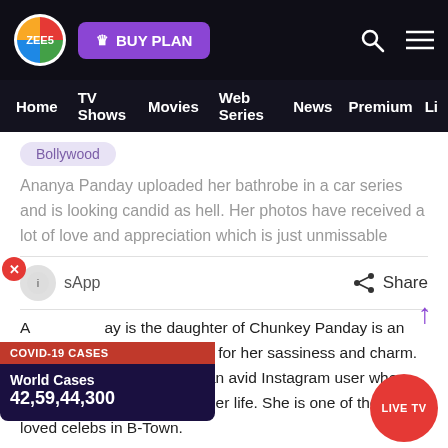ZEE5 | BUY PLAN | Home | TV Shows | Movies | Web Series | News | Premium | Li
Bollywood
Ananya Panday uploaded her bathrobe in a car series and is looking candid as hell. Her photos have received a lot of love and appreciation which is just unmissable
WhatsApp  Share
COVID-19 CASES
World Cases
42,59,44,300
Ananya Panday is the daughter of Chunkey Panday is an Indian actress who is known for her sassiness and charm. The Khaali Peeli actress is an avid Instagram user who gives us a sneak peek into her life. She is one of the most loved celebs in B-Town.